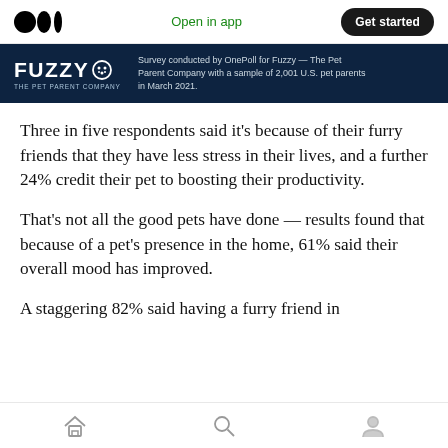Open in app  Get started
[Figure (infographic): Fuzzy – The Pet Parent Company banner with text: Survey conducted by OnePoll for Fuzzy — The Pet Parent Company with a sample of 2,001 U.S. pet parents in March 2021.]
Three in five respondents said it's because of their furry friends that they have less stress in their lives, and a further 24% credit their pet to boosting their productivity.
That's not all the good pets have done — results found that because of a pet's presence in the home, 61% said their overall mood has improved.
A staggering 82% said having a furry friend in
Home  Search  Profile